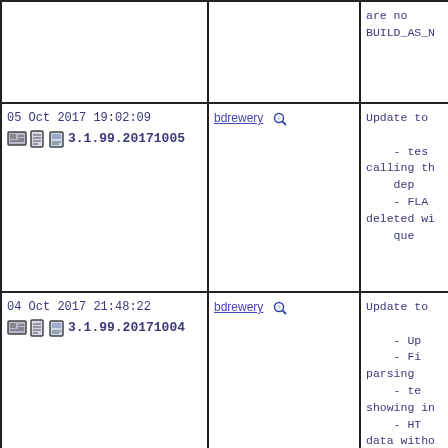| Build | User | Notes |
| --- | --- | --- |
| [truncated top row] |  | are no
BUILD_AS_N |
| 05 Oct 2017 19:02:09
3.1.99.20171005 | bdrewery 🔍 | Update to

    - tes
calling th
    dep
    - FLA
deleted wi
    que |
| 04 Oct 2017 21:48:22
3.1.99.20171004 | bdrewery 🔍 | Update to

    - Up
    - Fi
parsing
    - te
showing in
    - HT
data witho
    - HT
containing
    - te
broken por
    - FL
about unpr
    - ja
order to c
    de
    im |